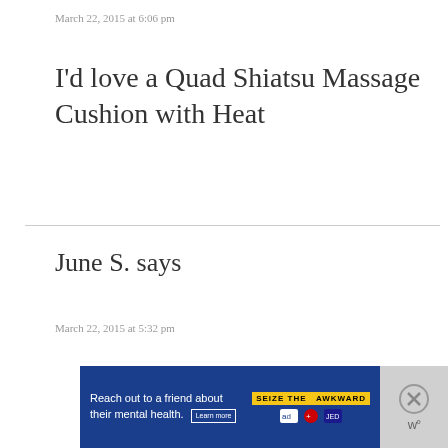March 22, 2015 at 6:06 pm
I’d love a Quad Shiatsu Massage Cushion with Heat
June S. says
March 22, 2015 at 5:32 pm
[Figure (other): Advertisement banner: Reach out to a friend about their mental health. Learn more. SEIZE THE AWKWARD.]